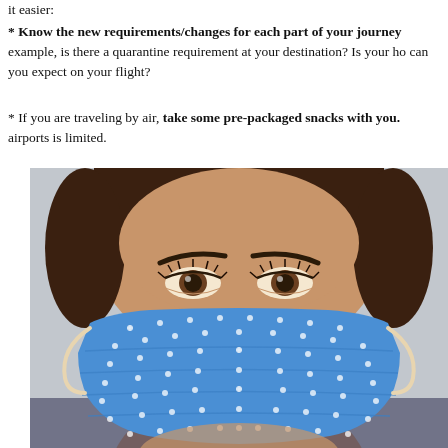it easier:
* Know the new requirements/changes for each part of your journey example, is there a quarantine requirement at your destination? Is your ho can you expect on your flight?
* If you are traveling by air, take some pre-packaged snacks with you. airports is limited.
[Figure (photo): Close-up photo of a young woman wearing a blue floral patterned face mask, with only her eyes and forehead visible above the mask.]